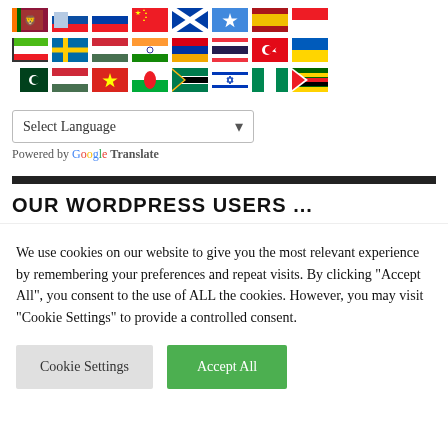[Figure (other): Three rows of country flag icons for language selection]
Select Language (dropdown)
Powered by Google Translate
OUR WORDPRESS USERS ...
We use cookies on our website to give you the most relevant experience by remembering your preferences and repeat visits. By clicking "Accept All", you consent to the use of ALL the cookies. However, you may visit "Cookie Settings" to provide a controlled consent.
Cookie Settings | Accept All